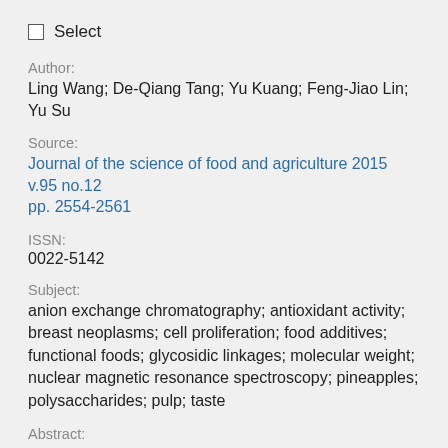Select
Author:
Ling Wang; De-Qiang Tang; Yu Kuang; Feng-Jiao Lin; Yu Su
Source:
Journal of the science of food and agriculture 2015 v.95 no.12 pp. 2554-2561
ISSN:
0022-5142
Subject:
anion exchange chromatography; antioxidant activity; breast neoplasms; cell proliferation; food additives; functional foods; glycosidic linkages; molecular weight; nuclear magnetic resonance spectroscopy; pineapples; polysaccharides; pulp; taste
Abstract:
... BACKGROUND: Pineapple has a delicious taste and good health benefits. Bioactive polysaccharides are important